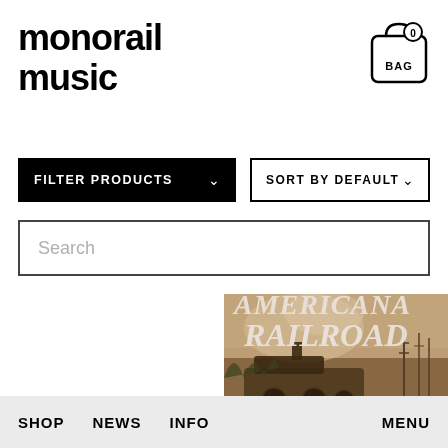monorail music
[Figure (logo): Shopping bag icon with '0' badge and 'BAG' label, black outline on white]
FILTER PRODUCTS ∨
SORT BY DEFAULT ∨
Search
[Figure (photo): Sepia-toned album cover showing a steam locomotive with text 'Americana Railroad' in stylized lettering]
SHOP   NEWS   INFO   MENU